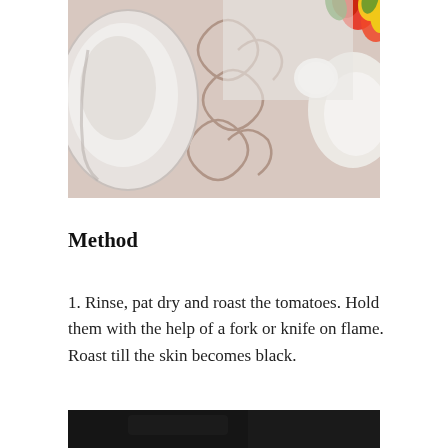[Figure (photo): Close-up photo of white ceramic dishes/bowls on a decorative tablecloth with floral and scroll patterns; red and yellow flowers visible in upper right corner]
Method
1. Rinse, pat dry and roast the tomatoes. Hold them with the help of a fork or knife on flame. Roast till the skin becomes black.
[Figure (photo): Bottom portion of dark/black background photo, partially visible at bottom of page]